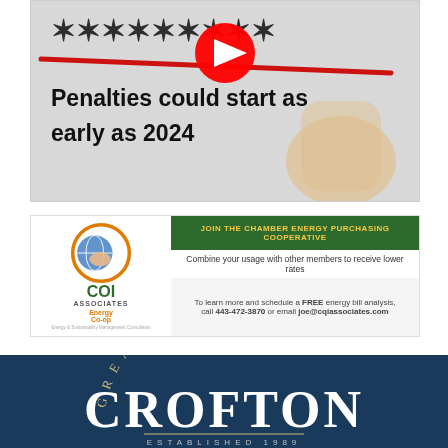[Figure (screenshot): Video thumbnail showing handwritten text being crossed out with a red line, YouTube play button visible, text reads 'Penalties could start as early as 2024']
[Figure (screenshot): COI Associates Energy Co-op advertisement banner. Left side shows COI Associates logo with globe icon, Energy Co-op text. Right side shows dark green header with yellow text 'JOIN THE CHAMBER ENERGY PURCHASING COOPERATIVE', subtitle 'Combine your usage with other members to receive lower rates', and contact info 'To learn more and schedule a FREE energy bill analysis, call 443-472-3870 or email joe@cqiassociates.com']
[Figure (logo): Greater Crofton logo on dark navy blue background. Shows 'GREATER' in gold arc lettering, 'CROFTON' in large white serif font, 'ESTABLISHED 1989' in small caps below a decorative line.]